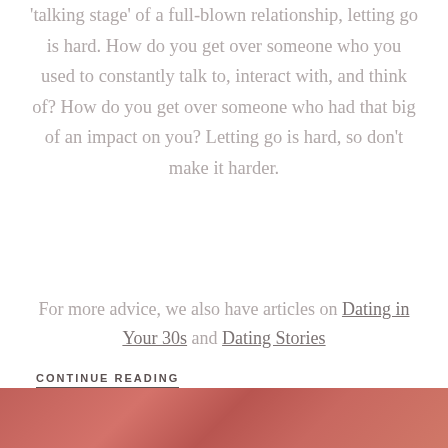'talking stage' of a full-blown relationship, letting go is hard. How do you get over someone who you used to constantly talk to, interact with, and think of? How do you get over someone who had that big of an impact on you? Letting go is hard, so don't make it harder.
For more advice, we also have articles on Dating in Your 30s and Dating Stories
CONTINUE READING
[Figure (photo): Partial view of a photo at the bottom of the page with warm red/pink tones]